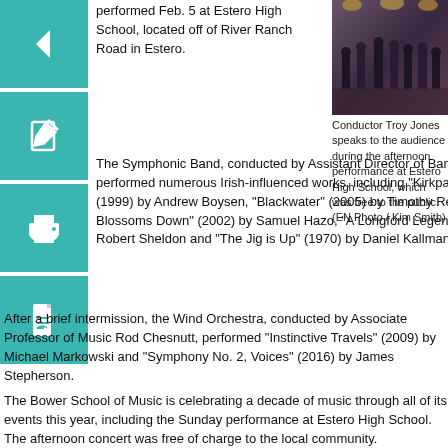[Figure (photo): Orchestra/band performers on stage at Estero High School]
Conductor Troy Jones speaks to the audience during the afternoon performance at Estero High School, which was free to the public. (EN Photo / Kim Smith)
[Figure (illustration): Back arrow icon button (teal)]
[Figure (illustration): Edit/pencil icon button (teal)]
[Figure (illustration): Print icon button (teal)]
[Figure (illustration): PDF/document icon button (teal)]
performed Feb. 5 at Estero High School, located off of River Ranch Road in Estero.
The Symphonic Band, conducted by Assistant Director of Bands Troy Jones, performed numerous Irish-influenced works, including "Kirkpatrick Fanfare" (1999) by Andrew Boysen, "Blackwater" (2005) by Timothy Reynish, "Their Blossoms Down" (2002) by Samuel Hazo, "A Longford Legend" (1996) by Robert Sheldon and "The Jig is Up" (1970) by Daniel Kallman.
After a brief intermission, the Wind Orchestra, conducted by Associate Professor of Music Rod Chesnutt, performed "Instinctive Travels" (2009) by Michael Markowski and "Symphony No. 2, Voices" (2016) by James Stepherson.
The Bower School of Music is celebrating a decade of music through all of its events this year, including the Sunday performance at Estero High School. The afternoon concert was free of charge to the local community.